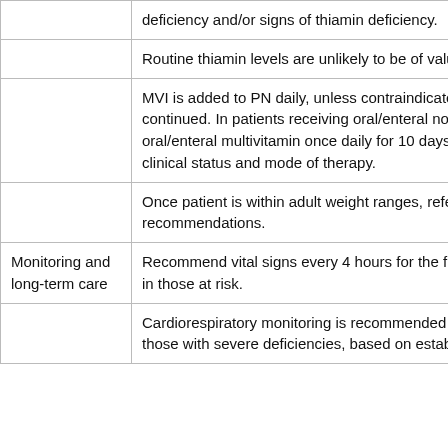| Category | Recommendation |
| --- | --- |
|  | deficiency and/or signs of thiamin deficiency. |
|  | Routine thiamin levels are unlikely to be of value. |
|  | MVI is added to PN daily, unless contraindicated, as long as PN is continued. In patients receiving oral/enteral nourishment, a complete oral/enteral multivitamin once daily for 10 days or greater based on clinical status and mode of therapy. |
|  | Once patient is within adult weight ranges, refer to adult multivitamin recommendations. |
| Monitoring and long-term care | Recommend vital signs every 4 hours for the first 24 hours after initiation in those at risk. |
|  | Cardiorespiratory monitoring is recommended for unstable patients or those with severe deficiencies, based on established standards. |